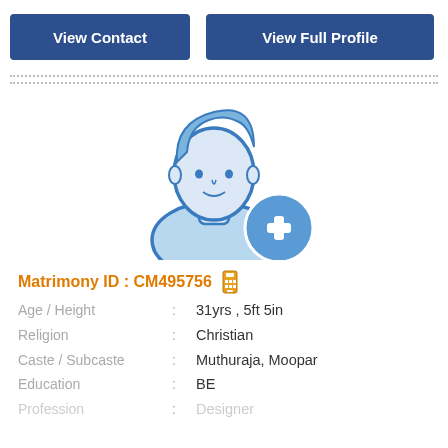[Figure (infographic): Two buttons side by side: 'View Contact' (dark blue) and 'View Full Profile' (dark blue)]
[Figure (illustration): Default male profile silhouette in light blue outline style with a blue circle plus/add icon in the bottom right]
Matrimony ID : CM495756 [mobile icon]
Age / Height : 31yrs , 5ft 5in
Religion : Christian
Caste / Subcaste : Muthuraja, Moopar
Education : BE
Profession : Designer